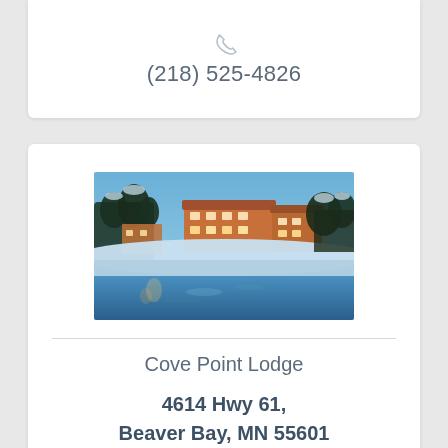(218) 525-4826
[Figure (photo): Winter lakeside photo of Cove Point Lodge, showing a large multi-story lodge building surrounded by snow-covered trees, reflected in partially frozen water at dusk with blue sky]
Cove Point Lodge
4614 Hwy 61, Beaver Bay, MN 55601
(218) 226-3221